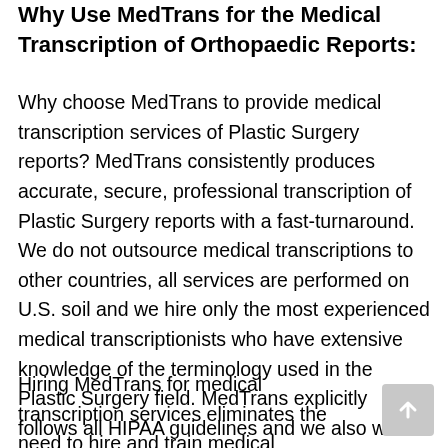Why Use MedTrans for the Medical Transcription of Orthopaedic Reports:
Why choose MedTrans to provide medical transcription services of Plastic Surgery reports? MedTrans consistently produces accurate, secure, professional transcription of Plastic Surgery reports with a fast-turnaround. We do not outsource medical transcriptions to other countries, all services are performed on U.S. soil and we hire only the most experienced medical transcriptionists who have extensive knowledge of the terminology used in the Plastic Surgery field. MedTrans explicitly follows all HIPAA guidelines and we also work with any EMR (electronic medical records) and will merge your dictation into the EMR system of your choice.
Hiring MedTrans for medical transcription services eliminates the need to hire and train medical transcriptionists, and you don't have to provide office